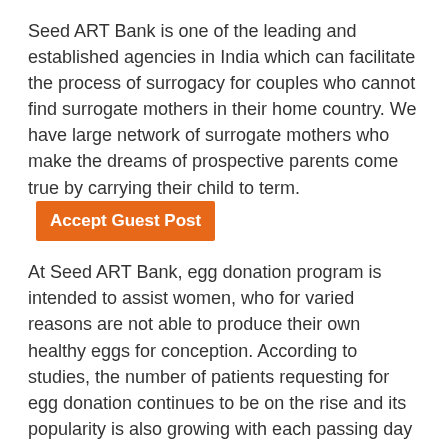Seed ART Bank is one of the leading and established agencies in India which can facilitate the process of surrogacy for couples who cannot find surrogate mothers in their home country. We have large network of surrogate mothers who make the dreams of prospective parents come true by carrying their child to term. [Accept Guest Post button]
At Seed ART Bank, egg donation program is intended to assist women, who for varied reasons are not able to produce their own healthy eggs for conception. According to studies, the number of patients requesting for egg donation continues to be on the rise and its popularity is also growing with each passing day in India. In summary, egg donation is one of the most effective processes that are carried out by fertility clinics and surrogacy agencies. Egg donation is a third party reproduction as part of assisted reproductive technology (ART).